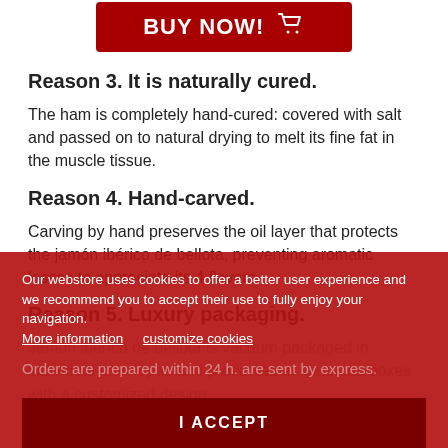[Figure (other): Red BUY NOW button with shopping cart icon]
Reason 3. It is naturally cured.
The ham is completely hand-cured: covered with salt and passed on to natural drying to melt its fine fat in the muscle tissue.
Reason 4. Hand-carved.
Carving by hand preserves the oil layer that protects the jamón ibérico de bellota, preventing aromatic losses to appreciate its 4 flavors.
Reason 5. Luxury packaging.
Jamon ibérico de bellota is vacuum packaged in individual envelopes and presented in luxurious boxes with a customized design.
Orders are prepared within 24 h. are sent by express.
Our webstore uses cookies to offer a better user experience and we recommend you to accept their use to fully enjoy your navigation. More information   customize cookies
I ACCEPT